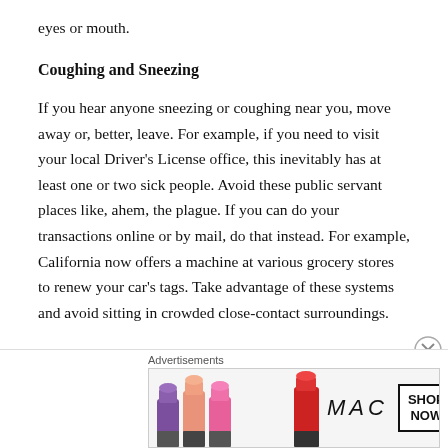eyes or mouth.
Coughing and Sneezing
If you hear anyone sneezing or coughing near you, move away or, better, leave. For example, if you need to visit your local Driver's License office, this inevitably has at least one or two sick people. Avoid these public servant places like, ahem, the plague. If you can do your transactions online or by mail, do that instead. For example, California now offers a machine at various grocery stores to renew your car's tags. Take advantage of these systems and avoid sitting in crowded close-contact surroundings.
Advertisements
[Figure (photo): MAC cosmetics advertisement banner showing colorful lipsticks with MAC logo and SHOP NOW button]